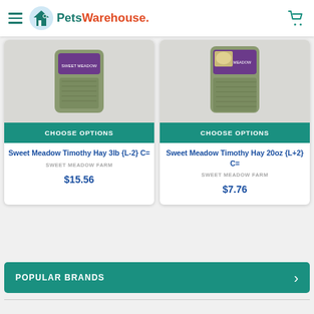Pets Warehouse
[Figure (photo): Product image of Sweet Meadow Timothy Hay 3lb bag with purple label]
CHOOSE OPTIONS
Sweet Meadow Timothy Hay 3lb {L-2} C=
SWEET MEADOW FARM
$15.56
[Figure (photo): Product image of Sweet Meadow Timothy Hay 20oz bag with purple label]
CHOOSE OPTIONS
Sweet Meadow Timothy Hay 20oz {L+2} C=
SWEET MEADOW FARM
$7.76
POPULAR BRANDS